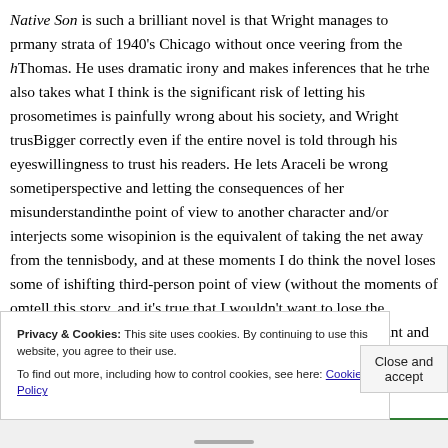Native Son is such a brilliant novel is that Wright manages to portray many strata of 1940's Chicago without once veering from the h... Thomas. He uses dramatic irony and makes inferences that he t... he also takes what I think is the significant risk of letting his pro... sometimes is painfully wrong about his society, and Wright trus... Bigger correctly even if the entire novel is told through his eyes... willingness to trust his readers. He lets Araceli be wrong someti... perspective and letting the consequences of her misunderstandin... the point of view to another character and/or interjects some wis... opinion is the equivalent of taking the net away from the tennis... body, and at these moments I do think the novel loses some of i... shifting third-person point of view (without the moments of om... tell this story, and it's true that I wouldn't want to lose the parts... Brandon's point of view. This novel is culturally important and...
Privacy & Cookies: This site uses cookies. By continuing to use this website, you agree to their use.
To find out more, including how to control cookies, see here: Cookie Policy
Close and accept